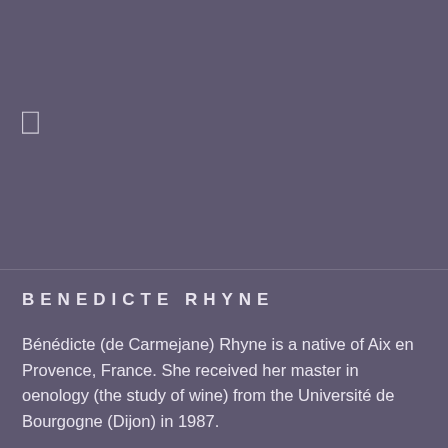[Figure (photo): Top half of page showing a muted purple/violet background with a small bracket or rectangular icon in the upper left area]
BENEDICTE RHYNE
Bénédicte (de Carmejane) Rhyne is a native of Aix en Provence, France. She received her master in oenology (the study of wine) from the Université de Bourgogne (Dijon) in 1987.

Her first experience was at Chateau Pétrus, in Pomerol,